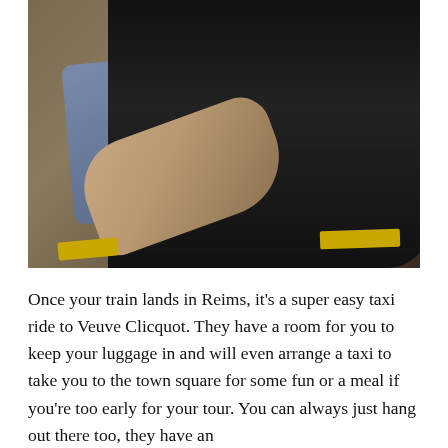[Figure (photo): Two people embracing/hugging outdoors at night. One person wears a grey-blue shirt, the other wears black. A stone wall is visible in the background with a red glow in the upper right. Yellow road markings are visible on the ground at the bottom of the image.]
Once your train lands in Reims, it's a super easy taxi ride to Veuve Clicquot. They have a room for you to keep your luggage in and will even arrange a taxi to take you to the town square for some fun or a meal if you're too early for your tour. You can always just hang out there too, they have an